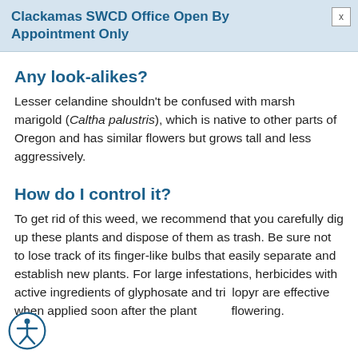Clackamas SWCD Office Open By Appointment Only
Any look-alikes?
Lesser celandine shouldn't be confused with marsh marigold (Caltha palustris), which is native to other parts of Oregon and has similar flowers but grows tall and less aggressively.
How do I control it?
To get rid of this weed, we recommend that you carefully dig up these plants and dispose of them as trash. Be sure not to lose track of its finger-like bulbs that easily separate and establish new plants. For large infestations, herbicides with active ingredients of glyphosate and triclopyr are effective when applied soon after the plant flowering.